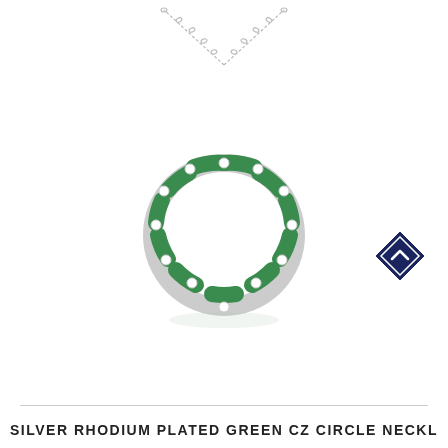[Figure (photo): Silver rhodium plated necklace with a circle pendant made of alternating green CZ baguette stones and small round white CZ stones, hung on a thin silver chain against a white background.]
[Figure (logo): Dark navy blue diamond-shaped logo badge with a white chevron/letter 'g' symbol inside.]
SILVER RHODIUM PLATED GREEN CZ CIRCLE NECKL